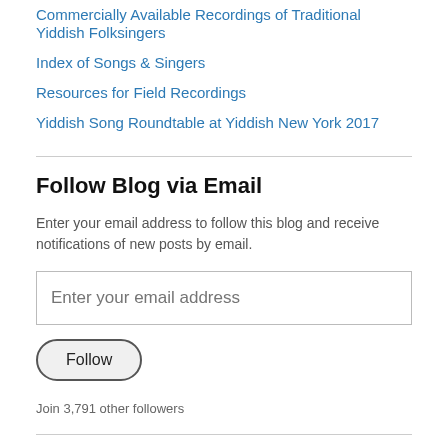Commercially Available Recordings of Traditional Yiddish Folksingers
Index of Songs & Singers
Resources for Field Recordings
Yiddish Song Roundtable at Yiddish New York 2017
Follow Blog via Email
Enter your email address to follow this blog and receive notifications of new posts by email.
Enter your email address
Follow
Join 3,791 other followers
Blogroll